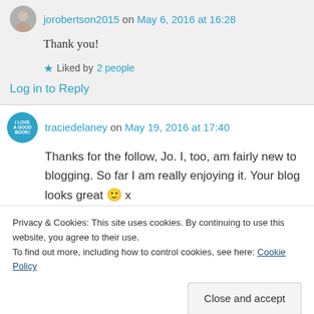jorobertson2015 on May 6, 2016 at 16:28
Thank you!
Liked by 2 people
Log in to Reply
traciedelaney on May 19, 2016 at 17:40
Thanks for the follow, Jo. I, too, am fairly new to blogging. So far I am really enjoying it. Your blog looks great 🙂 x
Privacy & Cookies: This site uses cookies. By continuing to use this website, you agree to their use. To find out more, including how to control cookies, see here: Cookie Policy
Close and accept
jorobertson2015 on May 19, 2016 at 17:56